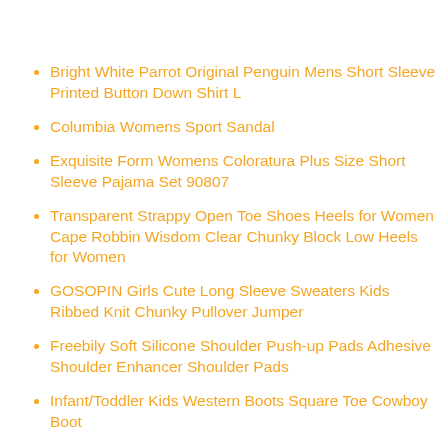Bright White Parrot Original Penguin Mens Short Sleeve Printed Button Down Shirt L
Columbia Womens Sport Sandal
Exquisite Form Womens Coloratura Plus Size Short Sleeve Pajama Set 90807
Transparent Strappy Open Toe Shoes Heels for Women Cape Robbin Wisdom Clear Chunky Block Low Heels for Women
GOSOPIN Girls Cute Long Sleeve Sweaters Kids Ribbed Knit Chunky Pullover Jumper
Freebily Soft Silicone Shoulder Push-up Pads Adhesive Shoulder Enhancer Shoulder Pads
Infant/Toddler Kids Western Boots Square Toe Cowboy Boot
ARIAT Mens M2 Relaxed Boot Cut Jeans